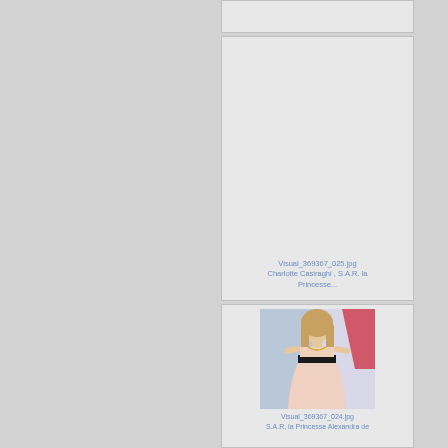[Figure (photo): Top image card, mostly empty/white with a thin strip visible]
[Figure (photo): Blank image placeholder card with filename and caption for Charlotte Casiraghi]
Visual_369367_025.jpg
Charlotte Casiraghi , S.A.R. la Princesse...
[Figure (photo): Photo of a young woman with long blonde hair wearing a pink/peach dress with a black waistband at what appears to be a public event]
Visual_369367_024.jpg
S.A.R. la Princesse Alexandra de